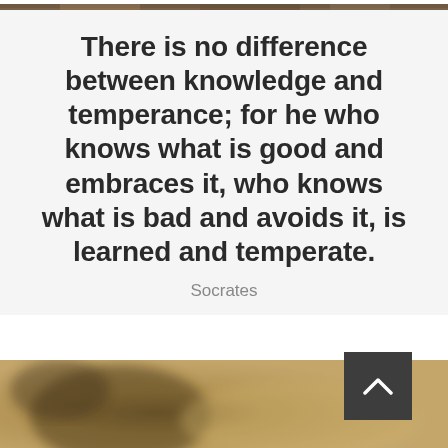[Figure (photo): Partial view of a wooden surface or background at the very top of the page, cropped strip]
There is no difference between knowledge and temperance; for he who knows what is good and embraces it, who knows what is bad and avoids it, is learned and temperate.
Socrates
[Figure (photo): Blurred warm-toned golden/brown image, likely a cup or bowl, at the bottom of the page with a dark square scroll-to-top button overlay]